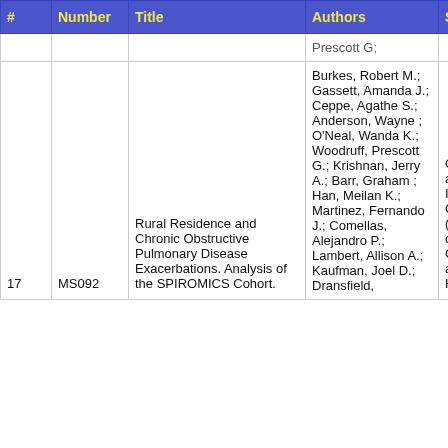| # | Number | Title | Authors | Site |
| --- | --- | --- | --- | --- |
|  |  |  | Prescott G; |  |
| 17 | MS092 | Rural Residence and Chronic Obstructive Pulmonary Disease Exacerbations. Analysis of the SPIROMICS Cohort. | Burkes, Robert M.; Gassett, Amanda J.; Ceppe, Agathe S.; Anderson, Wayne ; O'Neal, Wanda K.; Woodruff, Prescott G.; Krishnan, Jerry A.; Barr, Graham ; Han, Meilan K.; Martinez, Fernando J.; Comellas, Alejandro P.; Lambert, Allison A.; Kaufman, Joel D.; Dransfield, | Genomics and Informatics Center (University of North Carolina at Chapel Hill) |